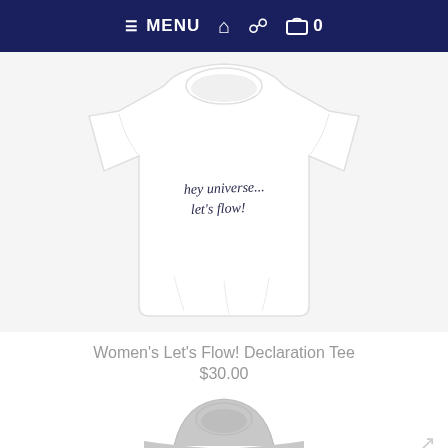≡ MENU 🏠 👤 🛒 0
[Figure (photo): White women's t-shirt with handwritten script text reading 'hey universe... let's flow!' on the front, displayed on a plain white/light background.]
Women's Let's Flow! Declaration Tee
$30.00
[Figure (photo): Partially visible grey t-shirt at bottom of page.]